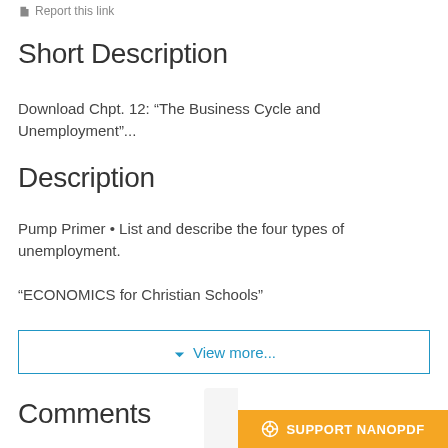Report this link
Short Description
Download Chpt. 12: “The Business Cycle and Unemployment”...
Description
Pump Primer • List and describe the four types of unemployment.
“ECONOMICS for Christian Schools”
⬇ View more...
Comments